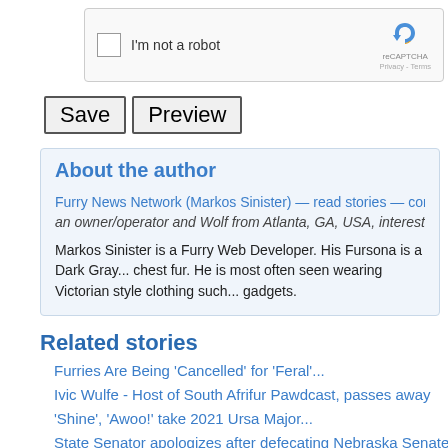[Figure (screenshot): reCAPTCHA widget with checkbox 'I'm not a robot' and reCAPTCHA logo with Privacy - Terms text]
Save  Preview
About the author
Furry News Network (Markos Sinister) — read stories — contact (logi...
an owner/operator and Wolf from Atlanta, GA, USA, interested in pub...
Markos Sinister is a Furry Web Developer. His Fursona is a Dark Gray... chest fur. He is most often seen wearing Victorian style clothing such... gadgets.
Related stories
Furries Are Being 'Cancelled' for 'Feral'...
Ivic Wulfe - Host of South Afrifur Pawdcast, passes away
'Shine', 'Awoo!' take 2021 Ursa Major...
State Senator apologizes after defecating Nebraska Senate...